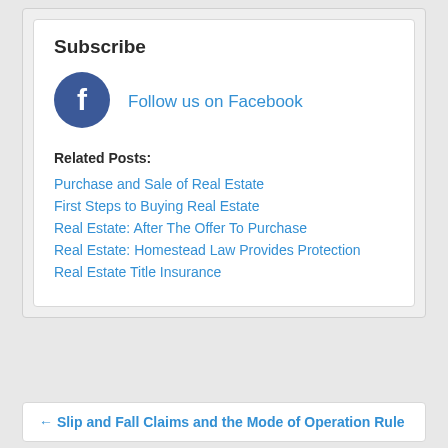Subscribe
[Figure (logo): Facebook logo icon — blue circle with white letter f]
Follow us on Facebook
Related Posts:
Purchase and Sale of Real Estate
First Steps to Buying Real Estate
Real Estate: After The Offer To Purchase
Real Estate: Homestead Law Provides Protection
Real Estate Title Insurance
← Slip and Fall Claims and the Mode of Operation Rule